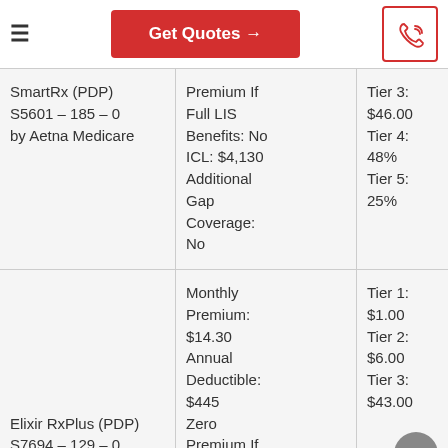≡  Get Quotes →  [phone icon]
| Plan | Premium/Deductible Info | Cost Tiers |
| --- | --- | --- |
| SmartRx (PDP) S5601 – 185 – 0 by Aetna Medicare | Premium If Full LIS Benefits: No ICL: $4,130 Additional Gap Coverage: No | Tier 3: $46.00 Tier 4: 48% Tier 5: 25% |
| Elixir RxPlus (PDP) S7694 – 129 – 0 by Elixir Insurance | Monthly Premium: $14.30 Annual Deductible: $445 Zero Premium If Full LIS | Tier 1: $1.00 Tier 2: $6.00 Tier 3: $43.00 |